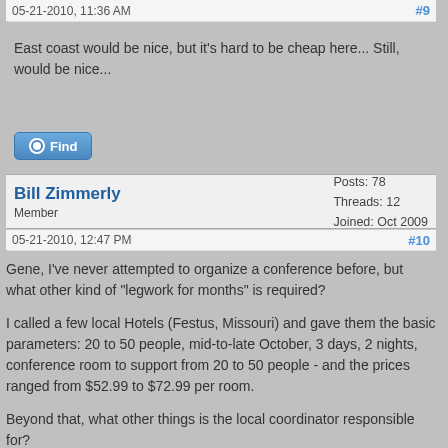05-21-2010, 11:36 AM  #9
East coast would be nice, but it's hard to be cheap here... Still, would be nice...
Find
Bill Zimmerly
Member
Posts: 78
Threads: 12
Joined: Oct 2009
05-21-2010, 12:47 PM  #10
Gene, I've never attempted to organize a conference before, but what other kind of "legwork for months" is required?

I called a few local Hotels (Festus, Missouri) and gave them the basic parameters: 20 to 50 people, mid-to-late October, 3 days, 2 nights, conference room to support from 20 to 50 people - and the prices ranged from $52.99 to $72.99 per room.

Beyond that, what other things is the local coordinator responsible for?